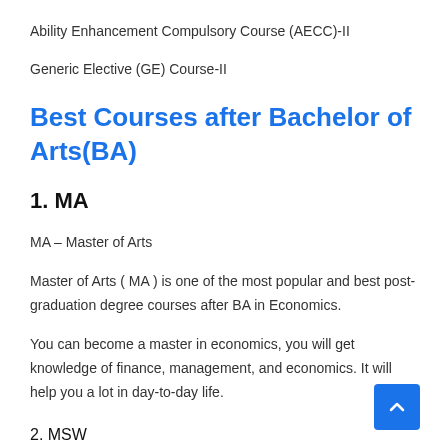Ability Enhancement Compulsory Course (AECC)-II
Generic Elective (GE) Course-II
Best Courses after Bachelor of Arts(BA)
1. MA
MA – Master of Arts
Master of Arts ( MA ) is one of the most popular and best post-graduation degree courses after BA in Economics.
You can become a master in economics, you will get knowledge of finance, management, and economics. It will help you a lot in day-to-day life.
2. MSW